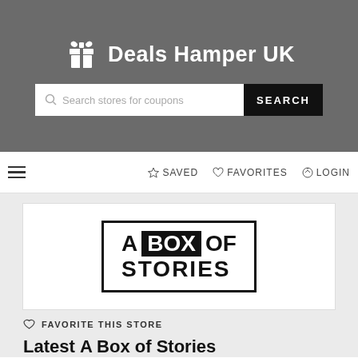Deals Hamper UK
[Figure (screenshot): Deals Hamper UK website header with logo, search bar, nav bar, A Box of Stories store logo, favorite link, and latest heading]
Search stores for coupons
SEARCH
SAVED
FAVORITES
LOGIN
FAVORITE THIS STORE
Latest A Box of Stories